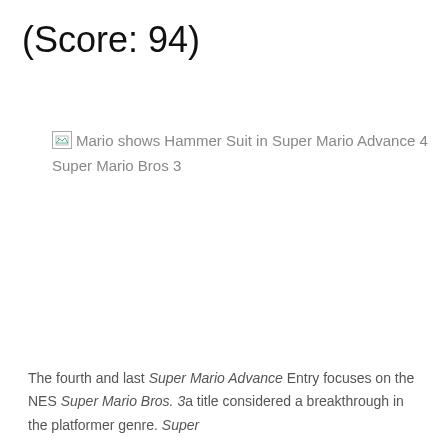(Score: 94)
[Figure (photo): Broken image placeholder with alt text: Mario shows Hammer Suit in Super Mario Advance 4 Super Mario Bros 3]
The fourth and last Super Mario Advance Entry focuses on the NES Super Mario Bros. 3a title considered a breakthrough in the platformer genre. Super